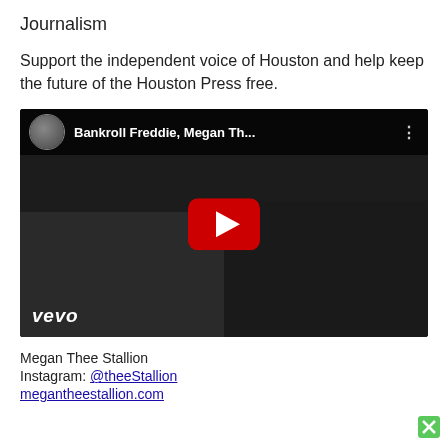Journalism
Support the independent voice of Houston and help keep the future of the Houston Press free.
[Figure (screenshot): YouTube video thumbnail for 'Bankroll Freddie, Megan Th...' with VEVO branding and a red play button overlay, showing two people in front of cars.]
Megan Thee Stallion
Instagram: @theeStallion
megantheestallion.com